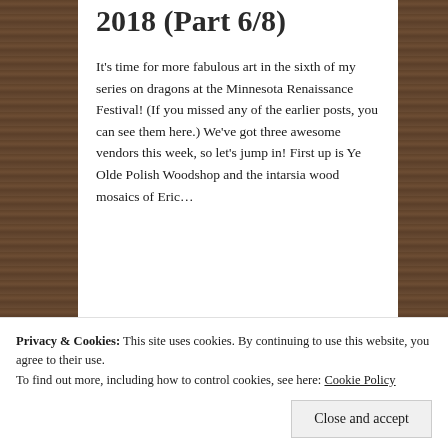2018 (Part 6/8)
It's time for more fabulous art in the sixth of my series on dragons at the Minnesota Renaissance Festival! (If you missed any of the earlier posts, you can see them here.) We've got three awesome vendors this week, so let's jump in! First up is Ye Olde Polish Woodshop and the intarsia wood mosaics of Eric...
December 22, 2018 in Ren Fest 2018.
[Figure (illustration): Colorful dragon art illustration with blue and teal dragon figures on a dark background with gold swirl patterns]
Privacy & Cookies: This site uses cookies. By continuing to use this website, you agree to their use.
To find out more, including how to control cookies, see here: Cookie Policy